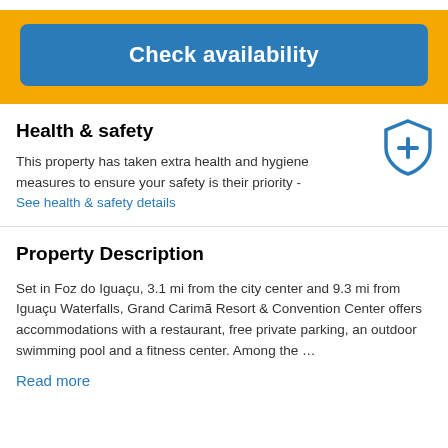[Figure (other): Yellow banner with a blue 'Check availability' button]
Health & safety
This property has taken extra health and hygiene measures to ensure your safety is their priority - See health & safety details
Property Description
Set in Foz do Iguaçu, 3.1 mi from the city center and 9.3 mi from Iguaçu Waterfalls, Grand Carimã Resort & Convention Center offers accommodations with a restaurant, free private parking, an outdoor swimming pool and a fitness center. Among the …
Read more